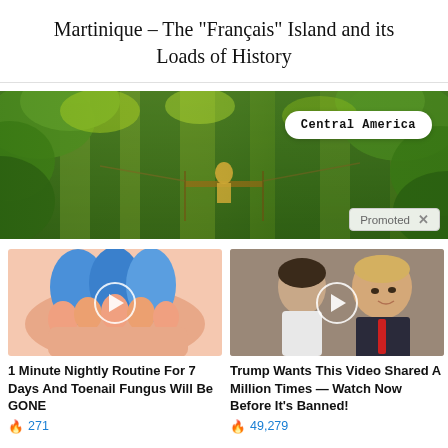Martinique – The "Français" Island and its Loads of History
[Figure (photo): Wide banner photo of a rainforest canopy walkway/bridge with a person in a yellow jacket; a white pill-shaped badge reads 'Central America'; a 'Promoted X' label appears bottom-right]
[Figure (photo): Thumbnail of feet with blue foam toe separators and a circular play button overlay]
1 Minute Nightly Routine For 7 Days And Toenail Fungus Will Be GONE
🔥 271
[Figure (photo): Thumbnail of two people (woman and older man in suit with red tie) with a circular play button overlay]
Trump Wants This Video Shared A Million Times — Watch Now Before It's Banned!
🔥 49,279